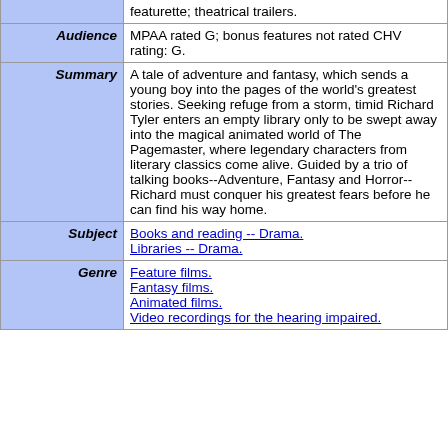|  | featurette; theatrical trailers. |
| Audience | MPAA rated G; bonus features not rated CHV rating: G. |
| Summary | A tale of adventure and fantasy, which sends a young boy into the pages of the world's greatest stories. Seeking refuge from a storm, timid Richard Tyler enters an empty library only to be swept away into the magical animated world of The Pagemaster, where legendary characters from literary classics come alive. Guided by a trio of talking books--Adventure, Fantasy and Horror--Richard must conquer his greatest fears before he can find his way home. |
| Subject | Books and reading -- Drama.
Libraries -- Drama. |
| Genre | Feature films.
Fantasy films.
Animated films.
Video recordings for the hearing impaired. |